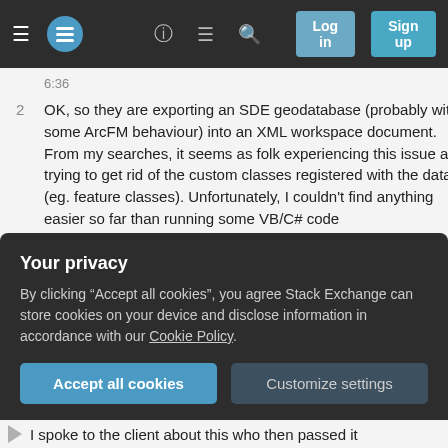Stack Exchange navigation bar with Log in and Sign up buttons
6:36
2 OK, so they are exporting an SDE geodatabase (probably with some ArcFM behaviour) into an XML workspace document. From my searches, it seems as folk experiencing this issue are trying to get rid of the custom classes registered with the data (eg. feature classes). Unfortunately, I couldn't find anything easier so far than running some VB/C# code (support.esri.com/en/knowledgebase/techarticles/detail/17755). My suggestion would be to ask customer to export the SDE data to a file geodatabase first and then to XML workspace document. – Alex Tereshenkov Feb 19, 2013 at 6:57
Your privacy
By clicking "Accept all cookies", you agree Stack Exchange can store cookies on your device and disclose information in accordance with our Cookie Policy.
Accept all cookies
Customize settings
I spoke to the client about this who then passed it